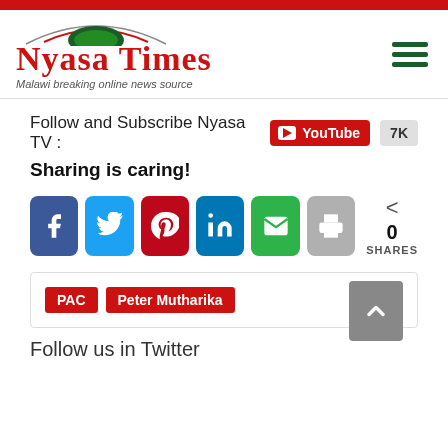Nyasa Times — Malawi breaking online news source
Follow and Subscribe Nyasa TV : YouTube 7K
Sharing is caring!
[Figure (infographic): Social share buttons: Facebook, Twitter, Pinterest, LinkedIn, Email, Print; share count: 0 SHARES]
PAC   Peter Mutharika
Follow us in Twitter